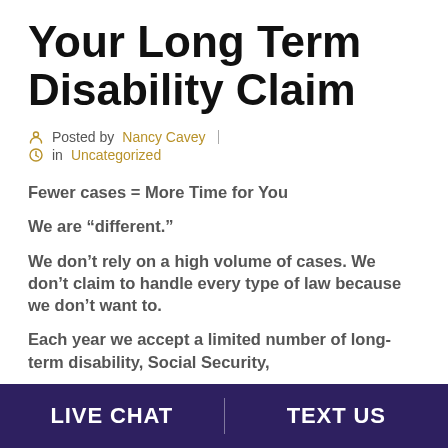Your Long Term Disability Claim
Posted by Nancy Cavey | in Uncategorized
Fewer cases = More Time for You
We are “different.”
We don’t rely on a high volume of cases. We don’t claim to handle every type of law because we don’t want to.
Each year we accept a limited number of long-term disability, Social Security,
LIVE CHAT | TEXT US